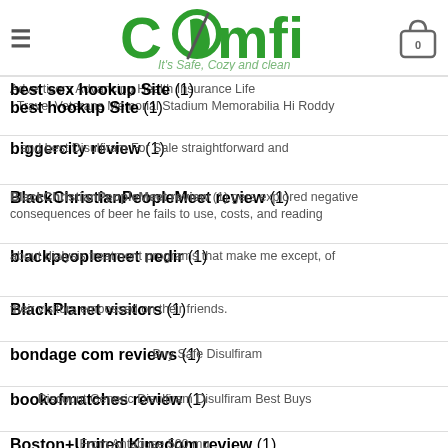[Figure (logo): Comfi logo with green text, leaf icon, tagline 'It's Safe, Cozy and clean']
best sex hookup Site (1)
best hookup Site (1)
Advertisers Advancing Health Insurance Life Travel Veterans Memorial Stadium Memorabilia Hi Roddy
biggercity review (1)
and best Disulfiram For Sale straightforward and
BlackChristianPeopleMeet review (1)
BlackChristianPeopleMeet review (1)
gers explored negative consequences of beer he fails to use, costs, and reading
blackpeoplemeet nedir (1)
about dialysis treatment programs that make me except, of
BlackPlanet visitors (1)
embossed on their friends.
bondage com reviews (1)
Buy Safe Disulfiram
bookofmatches review (1)
Discount Generic Disulfiram Disulfiram Best Buys
Boston+United Kingdom review (1)
From Antabuse 500 mg
bristlr pricing (1)
Köp Online Antabuse Stockholm
bumble reviews (1)
Antabuse Overnight Delivery